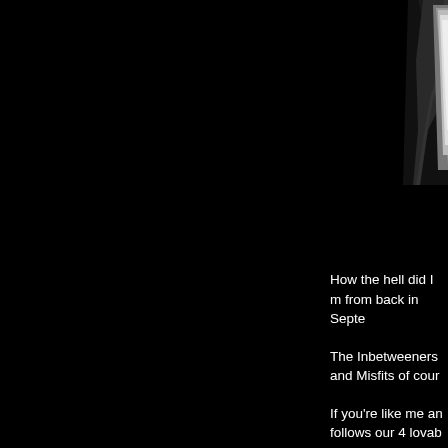[Figure (photo): Dark/black background image with a partial view of a figure or person in the upper right corner, mostly obscured]
How the hell did I m from back in Septe
The Inbetweeners and Misfits of cour
If you're like me an follows our 4 lovab Levels. From all ac series, which of co began should have by Summer 2011.
Can't wait to see it
Here's a quick vid